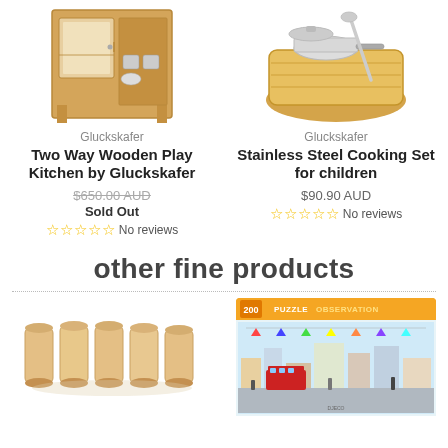[Figure (photo): Two Way Wooden Play Kitchen product photo]
Gluckskafer
Two Way Wooden Play Kitchen by Gluckskafer
$650.00 AUD (strikethrough)
Sold Out
☆☆☆☆☆ No reviews
[Figure (photo): Stainless Steel Cooking Set product photo]
Gluckskafer
Stainless Steel Cooking Set for children
$90.90 AUD
☆☆☆☆☆ No reviews
other fine products
[Figure (photo): Set of small wooden cups/beakers]
[Figure (photo): Djeco 200 piece Puzzle Observation box]